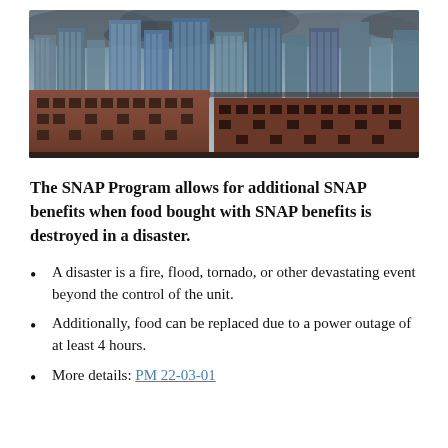[Figure (photo): Aerial/street-level photo of a city skyline with tall glass skyscrapers against a dramatic cloudy sky, with older brick warehouse buildings in the foreground.]
The SNAP Program allows for additional SNAP benefits when food bought with SNAP benefits is destroyed in a disaster.
A disaster is a fire, flood, tornado, or other devastating event beyond the control of the unit.
Additionally, food can be replaced due to a power outage of at least 4 hours.
More details: PM 22-03-01